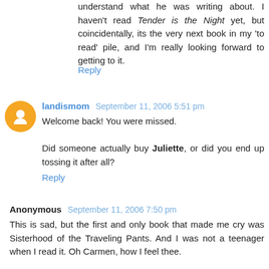understand what he was writing about. I haven't read Tender is the Night yet, but coincidentally, its the very next book in my 'to read' pile, and I'm really looking forward to getting to it.
Reply
landismom  September 11, 2006 5:51 pm
Welcome back! You were missed.

Did someone actually buy Juliette, or did you end up tossing it after all?
Reply
Anonymous  September 11, 2006 7:50 pm
This is sad, but the first and only book that made me cry was Sisterhood of the Traveling Pants. And I was not a teenager when I read it. Oh Carmen, how I feel thee.